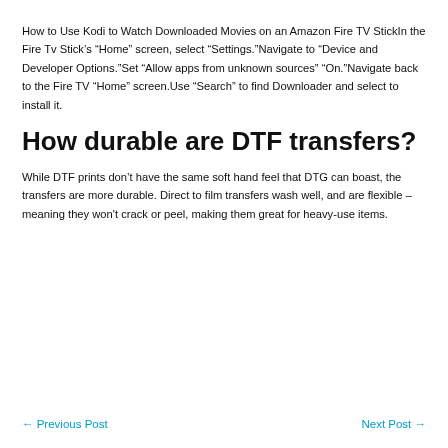How to Use Kodi to Watch Downloaded Movies on an Amazon Fire TV StickIn the Fire Tv Stick's “Home” screen, select “Settings.”Navigate to “Device and Developer Options.”Set “Allow apps from unknown sources” “On.”Navigate back to the Fire TV “Home” screen.Use “Search” to find Downloader and select to install it.
How durable are DTF transfers?
While DTF prints don’t have the same soft hand feel that DTG can boast, the transfers are more durable. Direct to film transfers wash well, and are flexible – meaning they won't crack or peel, making them great for heavy-use items.
← Previous Post   Next Post →